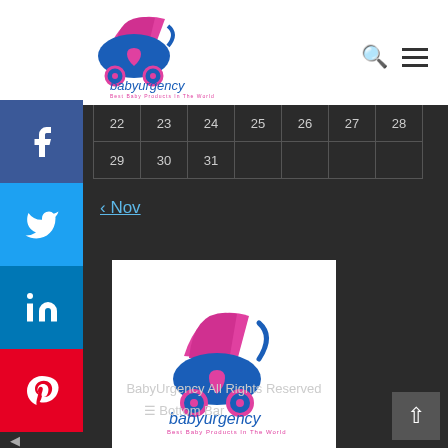[Figure (logo): BabyUrgency logo with baby carriage in blue and pink, text 'babyurgency' and tagline 'Best Baby Products In The World']
| 22 | 23 | 24 | 25 | 26 | 27 | 28 |
| 29 | 30 | 31 |  |  |  |  |
Nov
[Figure (logo): BabyUrgency logo centered on dark background, baby carriage blue and pink, text 'babyurgency' and tagline 'Best Baby Products In The World']
BabyUrgency All Rights Reserved
Bottom Bar